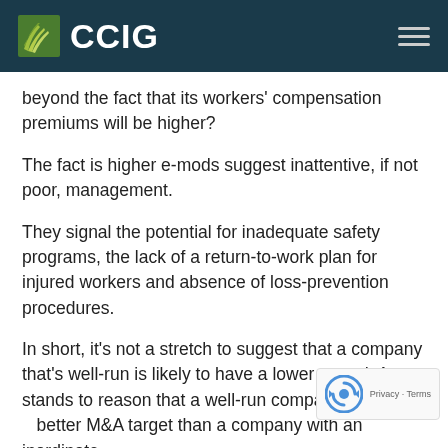CCIG
beyond the fact that its workers' compensation premiums will be higher?
The fact is higher e-mods suggest inattentive, if not poor, management.
They signal the potential for inadequate safety programs, the lack of a return-to-work plan for injured workers and absence of loss-prevention procedures.
In short, it’s not a stretch to suggest that a company that’s well-run is likely to have a lower e-mod. And it stands to reason that a well-run company would be a better M&A target than a company with an inordinate